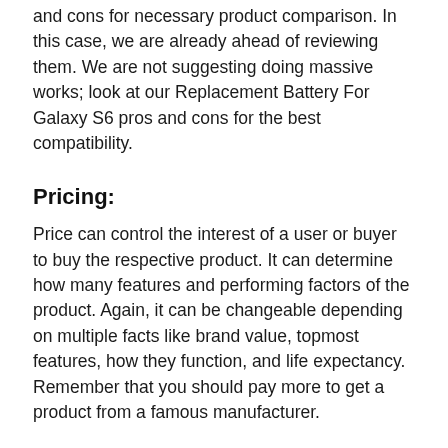and cons for necessary product comparison. In this case, we are already ahead of reviewing them. We are not suggesting doing massive works; look at our Replacement Battery For Galaxy S6 pros and cons for the best compatibility.
Pricing:
Price can control the interest of a user or buyer to buy the respective product. It can determine how many features and performing factors of the product. Again, it can be changeable depending on multiple facts like brand value, topmost features, how they function, and life expectancy. Remember that you should pay more to get a product from a famous manufacturer.